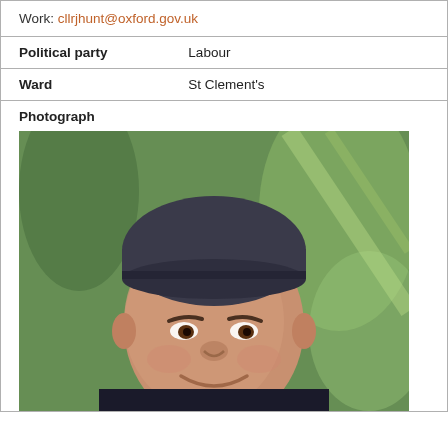Work: cllrjhunt@oxford.gov.uk
| Political party | Labour |
| Ward | St Clement's |
Photograph
[Figure (photo): Close-up photograph of a man with a dark beanie hat, smiling, with a green outdoor background]